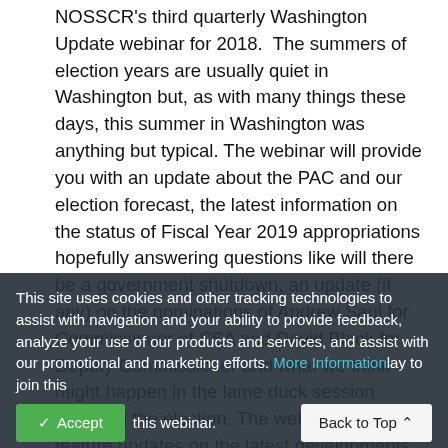NOSSCR's third quarterly Washington Update webinar for 2018.  The summers of election years are usually quiet in Washington but, as with many things these days, this summer in Washington was anything but typical. The webinar will provide you with an update about the PAC and our election forecast, the latest information on the status of Fiscal Year 2019 appropriations hopefully answering questions like will there be a government shutdown, an update (if any) on the nominations of Andrew Saul for Commissioner of SSA and David Black for Deputy Commissioner and what we think might happen in the lame duck session following the election. The webinar will also feature updates on the latest developments at SSA including SSA's plan to reinstate reconsideration, ALJ issues (including implementation of the Executive Order on ALJ
This site uses cookies and other tracking technologies to assist with navigation and your ability to provide feedback, analyze your use of our products and services, and assist with our promotional and marketing efforts. More Information ...lay to join ... this webinar.